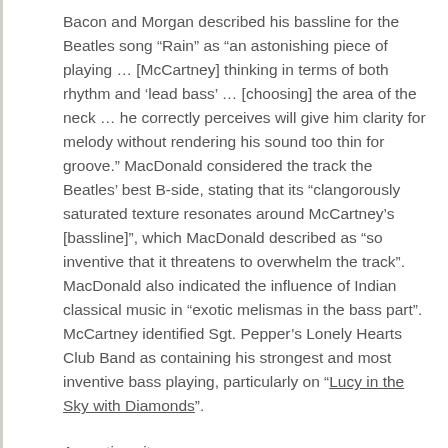Bacon and Morgan described his bassline for the Beatles song “Rain” as “an astonishing piece of playing … [McCartney] thinking in terms of both rhythm and ‘lead bass’ … [choosing] the area of the neck … he correctly perceives will give him clarity for melody without rendering his sound too thin for groove.” MacDonald considered the track the Beatles’ best B-side, stating that its “clangorously saturated texture resonates around McCartney’s [bassline]”, which MacDonald described as “so inventive that it threatens to overwhelm the track”. MacDonald also indicated the influence of Indian classical music in “exotic melismas in the bass part”. McCartney identified Sgt. Pepper’s Lonely Hearts Club Band as containing his strongest and most inventive bass playing, particularly on “Lucy in the Sky with Diamonds”.
Acoustic guitar